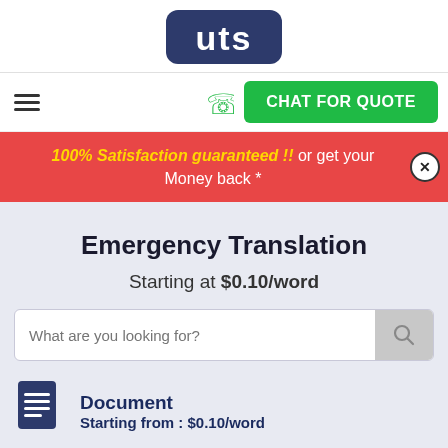[Figure (logo): UTS logo — dark blue rounded rectangle with white 'uts' letters in bold]
[Figure (infographic): Navigation bar with hamburger menu, green phone icon, and green CHAT FOR QUOTE button]
100% Satisfaction guaranteed !! or get your Money back *
Emergency Translation
Starting at $0.10/word
What are you looking for?
Document
Starting from : $0.10/word
Audio / Video